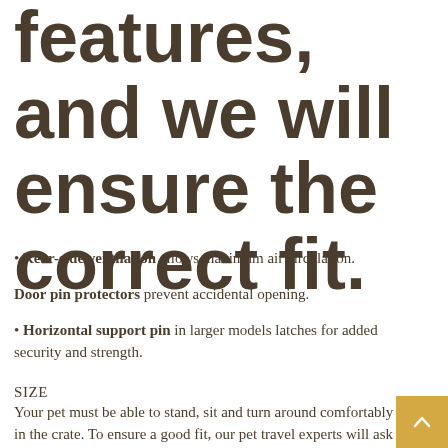features, and we will ensure the correct fit.
Rear-side ventilation allows maximum air circulation.
Door pin protectors prevent accidental opening.
Horizontal support pin in larger models latches for added security and strength.
SIZE
Your pet must be able to stand, sit and turn around comfortably in the crate. To ensure a good fit, our pet travel experts will ask you for